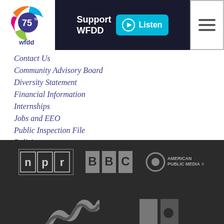[Figure (logo): WFDD 75th anniversary logo with colorful 75th badge and wfdd text below]
[Figure (logo): Support WFDD dark banner with Listen button in cyan]
[Figure (logo): Hamburger menu icon button]
Contact Us
Community Advisory Board
Diversity Statement
Financial Information
Internships
Jobs and EEO
Public Inspection File
Policies
Report on Local Content & Services
Volunteer
WFDD Streaming Information
[Figure (logo): NPR logo in white on dark background]
[Figure (logo): BBC logo in grey on dark background]
[Figure (logo): American Public Media logo in grey on dark background]
[Figure (logo): Partial logos at bottom of page on dark background]